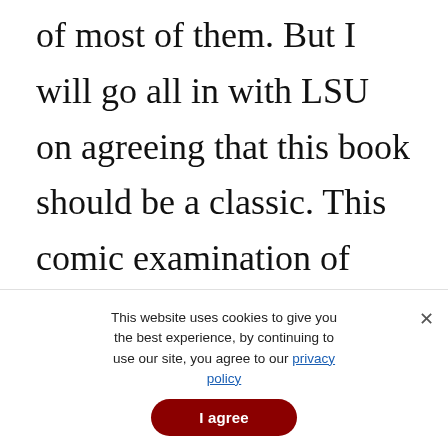of most of them. But I will go all in with LSU on agreeing that this book should be a classic. This comic examination of human nature, this assemblage of weird events smoothed together into a novel by a deft narrative hand, deserves to be considered
This website uses cookies to give you the best experience, by continuing to use our site, you agree to our privacy policy